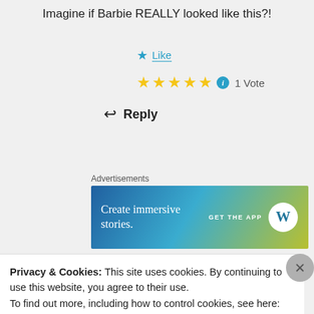Imagine if Barbie REALLY looked like this?!
Like
★★★★★ 1 Vote
↩ Reply
Advertisements
[Figure (screenshot): WordPress advertisement banner: 'Create immersive stories. GET THE APP' with WordPress logo]
pegz57
Privacy & Cookies: This site uses cookies. By continuing to use this website, you agree to their use.
To find out more, including how to control cookies, see here: Cookie Policy
Close and accept